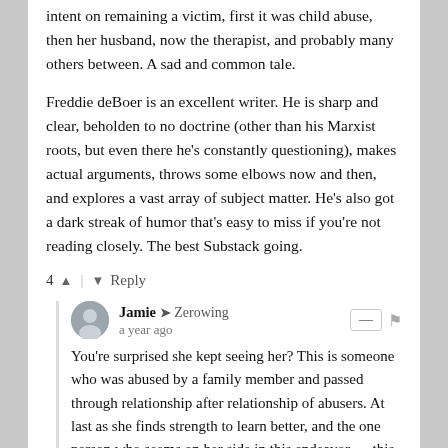intent on remaining a victim, first it was child abuse, then her husband, now the therapist, and probably many others between. A sad and common tale.
Freddie deBoer is an excellent writer. He is sharp and clear, beholden to no doctrine (other than his Marxist roots, but even there he's constantly questioning), makes actual arguments, throws some elbows now and then, and explores a vast array of subject matter. He's also got a dark streak of humor that's easy to miss if you're not reading closely. The best Substack going.
4 ▲ | ▼ Reply
Jamie → Zerowing
a year ago
You're surprised she kept seeing her? This is someone who was abused by a family member and passed through relationship after relationship of abusers. At last as she finds strength to learn better, and the one person who seems on her side in this endeavor — this one person abuses her...